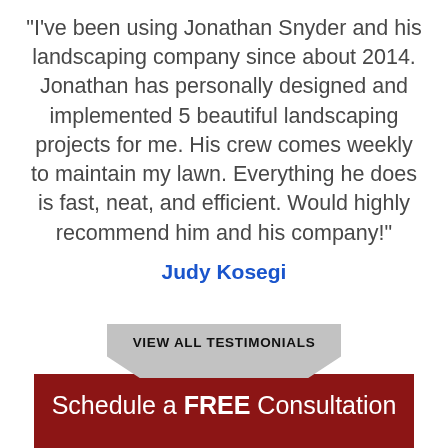“I’ve been using Jonathan Snyder and his landscaping company since about 2014. Jonathan has personally designed and implemented 5 beautiful landscaping projects for me. His crew comes weekly to maintain my lawn. Everything he does is fast, neat, and efficient. Would highly recommend him and his company!”
Judy Kosegi
VIEW ALL TESTIMONIALS
Schedule a FREE Consultation